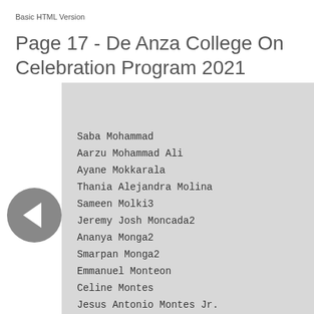Basic HTML Version
Page 17 - De Anza College On Celebration Program 2021
Saba Mohammad
Aarzu Mohammad Ali
Ayane Mokkarala
Thania Alejandra Molina
Sameen Molki3
Jeremy Josh Moncada2
Ananya Monga2
Smarpan Monga2
Emmanuel Monteon
Celine Montes
Jesus Antonio Montes Jr.